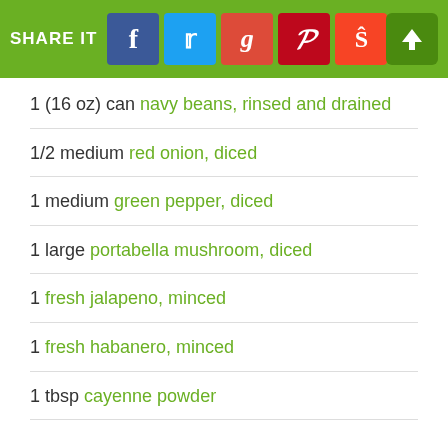[Figure (screenshot): Social sharing header bar with green background, SHARE IT text, social media buttons for Facebook, Twitter, Google+, Pinterest, StumbleUpon, and an upload arrow button]
1 (16 oz) can navy beans, rinsed and drained
1/2 medium red onion, diced
1 medium green pepper, diced
1 large portabella mushroom, diced
1 fresh jalapeno, minced
1 fresh habanero, minced
1 tbsp cayenne powder